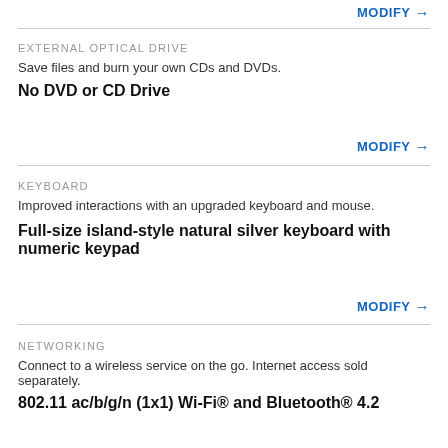MODIFY →
EXTERNAL OPTICAL DRIVE
Save files and burn your own CDs and DVDs.
No DVD or CD Drive
MODIFY →
KEYBOARD
Improved interactions with an upgraded keyboard and mouse.
Full-size island-style natural silver keyboard with numeric keypad
MODIFY →
NETWORKING
Connect to a wireless service on the go. Internet access sold separately.
802.11 ac/b/g/n (1x1) Wi-Fi® and Bluetooth® 4.2